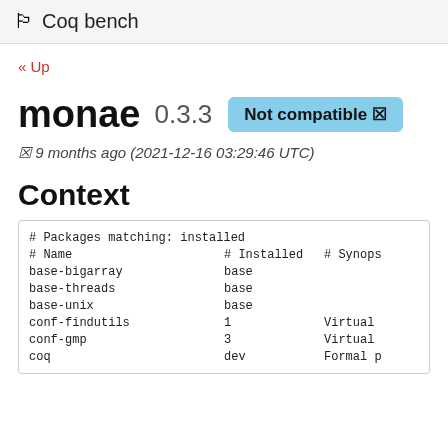🏁 Coq bench
« Up
monae 0.3.3  Not compatible ✗
✗ 9 months ago (2021-12-16 03:29:46 UTC)
Context
| # Name | # Installed | # Synops |
| --- | --- | --- |
| # Packages matching: installed |  |  |
| base-bigarray | base |  |
| base-threads | base |  |
| base-unix | base |  |
| conf-findutils | 1 | Virtual |
| conf-gmp | 3 | Virtual |
| coq | dev | Formal p |